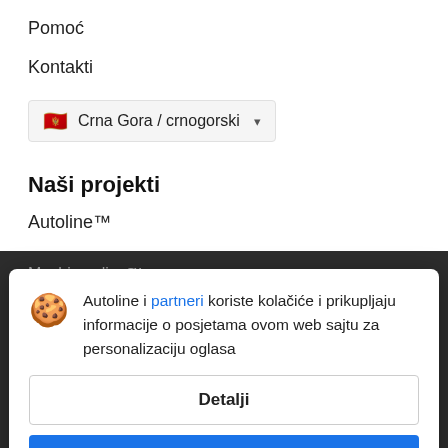Pomoć
Kontakti
🇲🇪 Crna Gora / crnogorski ▾
Naši projekti
Autoline™
Machineryline™
Informacija
Autoline i partneri koriste kolačiće i prikupljaju informacije o posjetama ovom web sajtu za personalizaciju oglasa
Detalji
Slažem se i zatvori